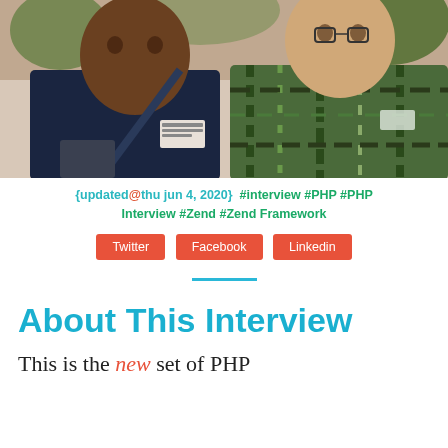[Figure (photo): Two men posing together for a photo. The man on the left wears a dark navy polo shirt with a logo/badge and has a shoulder bag. The man on the right wears a green and blue plaid shirt.]
{updated@thu jun 4, 2020}  #interview #PHP #PHP Interview #Zend #Zend Framework
Twitter   Facebook   Linkedin
About This Interview
This is the new set of PHP...